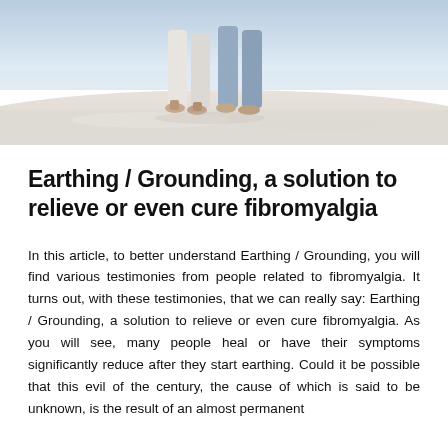[Figure (photo): Two people standing barefoot on a sandy beach, photographed from the waist down. One wears white/grey pants, the other wears light blue jeans. Sandy white beach ground visible.]
Earthing / Grounding, a solution to relieve or even cure fibromyalgia
In this article, to better understand Earthing / Grounding, you will find various testimonies from people related to fibromyalgia. It turns out, with these testimonies, that we can really say: Earthing / Grounding, a solution to relieve or even cure fibromyalgia. As you will see, many people heal or have their symptoms significantly reduce after they start earthing. Could it be possible that this evil of the century, the cause of which is said to be unknown, is the result of an almost permanent